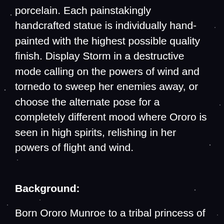porcelain. Each painstakingly handcrafted statue is individually hand-painted with the highest possible quality finish. Display Storm in a destructive mode calling on the powers of wind and tornedo to sweep her enemies away, or choose the alternate pose for a completely different mood where Ororo is seen in high spirits, relishing in her powers of flight and wind.
Background:
Born Ororo Munroe to a tribal princess of Kenya and an American photojournalist father, Storm is raised in Harlem and Cairo. She was made an orphan after her parents were killed in the midst of an Arab–Israeli conflict. An incident at this